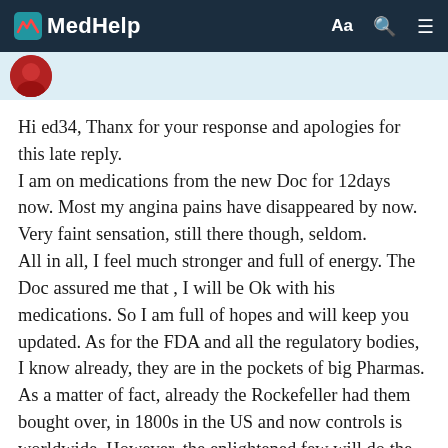MedHelp
[Figure (photo): Red avatar/profile icon circle]
Hi ed34, Thanx for your response and apologies for this late reply. I am on medications from the new Doc for 12days now. Most my angina pains have disappeared by now. Very faint sensation, still there though, seldom. All in all, I feel much stronger and full of energy. The Doc assured me that , I will be Ok with his medications. So I am full of hopes and will keep you updated. As for the FDA and all the regulatory bodies, I know already, they are in the pockets of big Pharmas. As a matter of fact, already the Rockefeller had them bought over, in 1800s in the US and now controls is worldwide. However, the enlightened few will do the right things, specially in this digital age -